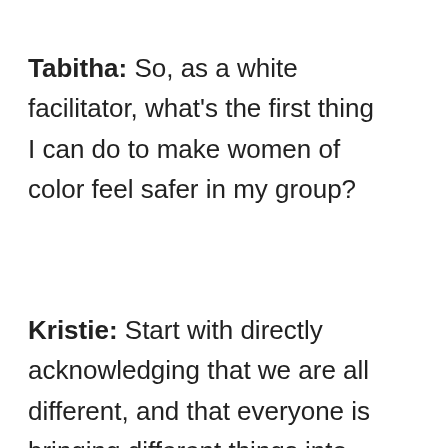Tabitha: So, as a white facilitator, what's the first thing I can do to make women of color feel safer in my group?
Kristie: Start with directly acknowledging that we are all different, and that everyone is bringing different things into the group. Being a survivor can be isolating enough, we don't want people to feel alone and